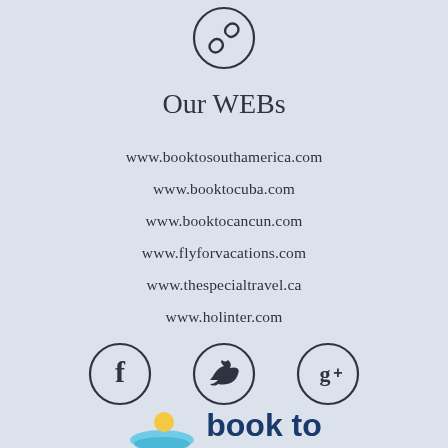[Figure (illustration): Circular link/chain icon outline at top center]
Our WEBs
www.booktosouthamerica.com
www.booktocuba.com
www.booktocancun.com
www.flyforvacations.com
www.thespecialtravel.ca
www.holinter.com
[Figure (illustration): Three circular social media icons: Facebook (f), Twitter (bird), Google+ (g+)]
[Figure (logo): Book to South America logo with sun and wave illustration and text 'book to']